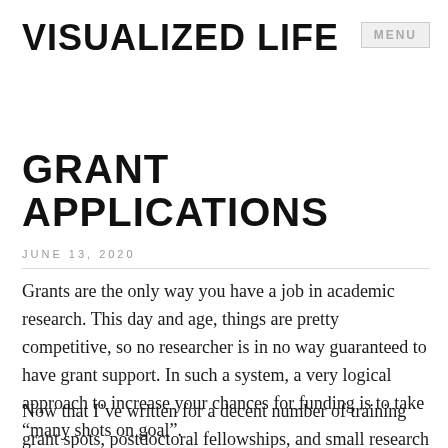VISUALIZED LIFE
GRANT APPLICATIONS
JUNE 13, 2020
Grants are the only way you have a job in academic research. This day and age, things are pretty competitive, so no researcher is in no way guaranteed to have grant support. In such a system, a very logical approach to increase your chances for funding is to take “many shots on goal”.
Now that I’ve written for a decent number of training grant spots, postdoctoral fellowships, and small research grants, I’ve been experiencing what to this end looks…